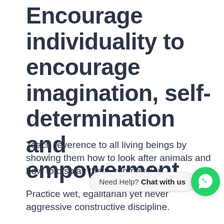Encourage individuality to encourage imagination, self-determination and empowerment.
Teach reverence to all living beings by showing them how to look after animals and how to display them compassion...
Practice wet, egalitarian yet never aggressive constructive discipline.
Direct your child by role modelling and caring behaviour.
Enable your child to trust in himself and his